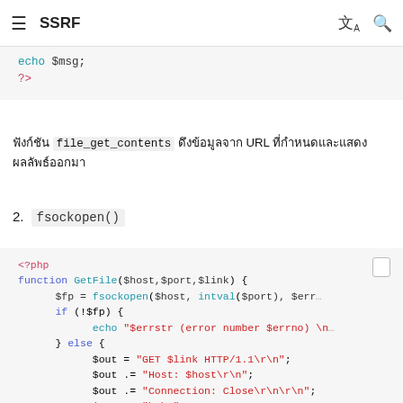SSRF
[Figure (screenshot): Code snippet continuation showing: echo $msg; ?>]
ฟังก์ชัน file_get_contents ดึงข้อมูลจาก URL ที่กำหนดและแสดงผลลัพธ์ออกมา
2. fsockopen()
[Figure (screenshot): PHP code block showing fsockopen function: <?php function GetFile($host,$port,$link) { $fp = fsockopen($host, intval($port), $err... if (!$fp) { echo "$errstr (error number $errno) \n... } else { $out = "GET $link HTTP/1.1\r\n"; $out .= "Host: $host\r\n"; $out .= "Connection: Close\r\n\r\n"; $out .= "\r\n"; fwrite($fp, $out); $contents=''; while ($f=$fgets...]